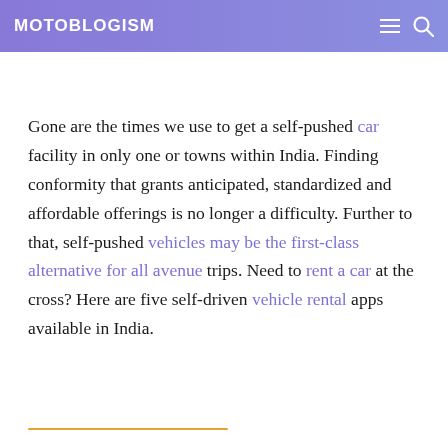MOTOBLOGISM
Gone are the times we use to get a self-pushed car facility in only one or towns within India. Finding conformity that grants anticipated, standardized and affordable offerings is no longer a difficulty. Further to that, self-pushed vehicles may be the first-class alternative for all avenue trips. Need to rent a car at the cross? Here are five self-driven vehicle rental apps available in India.